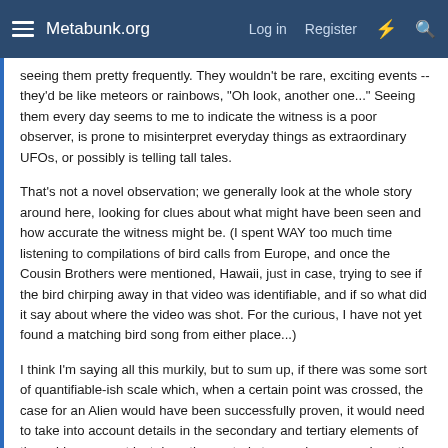Metabunk.org   Log in   Register
seeing them pretty frequently. They wouldn't be rare, exciting events -- they'd be like meteors or rainbows, "Oh look, another one..." Seeing them every day seems to me to indicate the witness is a poor observer, is prone to misinterpret everyday things as extraordinary UFOs, or possibly is telling tall tales.
That's not a novel observation; we generally look at the whole story around here, looking for clues about what might have been seen and how accurate the witness might be. (I spent WAY too much time listening to compilations of bird calls from Europe, and once the Cousin Brothers were mentioned, Hawaii, just in case, trying to see if the bird chirping away in that video was identifiable, and if so what did it say about where the video was shot. For the curious, I have not yet found a matching bird song from either place...)
I think I'm saying all this murkily, but to sum up, if there was some sort of quantifiable-ish scale which, when a certain point was crossed, the case for an Alien would have been successfully proven, it would need to take into account details in the secondary and tertiary elements of the evidence -- not just does the central story make sense, does the WHOLE story make sense.